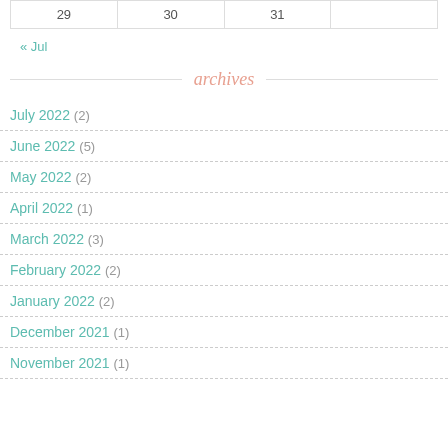| 29 | 30 | 31 |  |
« Jul
archives
July 2022 (2)
June 2022 (5)
May 2022 (2)
April 2022 (1)
March 2022 (3)
February 2022 (2)
January 2022 (2)
December 2021 (1)
November 2021 (1)